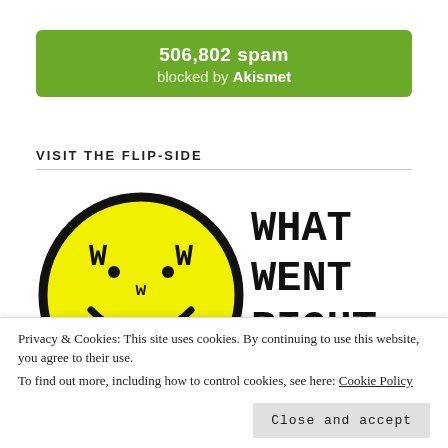[Figure (infographic): Green rounded banner with white text: '506,802 spam' in bold large font, and 'blocked by Akismet' below in lighter text with Akismet in bold.]
VISIT THE FLIP-SIDE
[Figure (logo): Yellow smiley face circle with thick black border. Letters W W and w in center area, with 'RIGHT' text along the bottom arc. To the right: large bold serif/typewriter text reading 'WHAT WENT RIGHT WITH ?' partially visible.]
Privacy & Cookies: This site uses cookies. By continuing to use this website, you agree to their use.
To find out more, including how to control cookies, see here: Cookie Policy
Close and accept